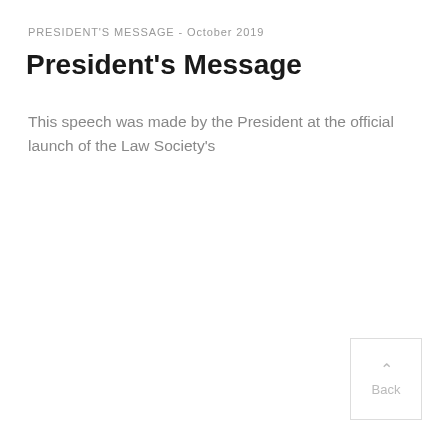PRESIDENT'S MESSAGE  -  October 2019
President's Message
This speech was made by the President at the official launch of the Law Society's